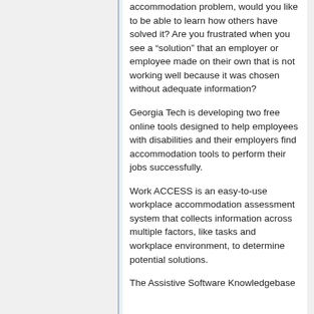accommodation problem, would you like to be able to learn how others have solved it? Are you frustrated when you see a “solution” that an employer or employee made on their own that is not working well because it was chosen without adequate information?
Georgia Tech is developing two free online tools designed to help employees with disabilities and their employers find accommodation tools to perform their jobs successfully.
Work ACCESS is an easy-to-use workplace accommodation assessment system that collects information across multiple factors, like tasks and workplace environment, to determine potential solutions.
The Assistive Software Knowledgebase